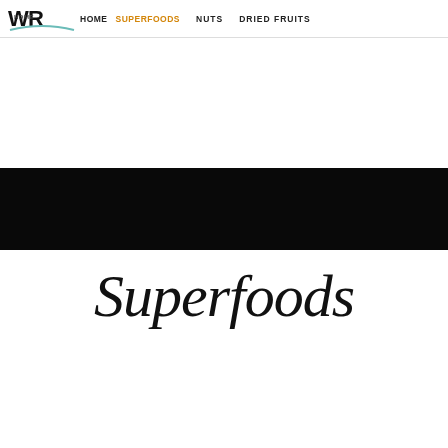HOME  SUPERFOODS  NUTS  DRIED FRUITS
[Figure (other): Black horizontal banner/hero image band]
Superfoods